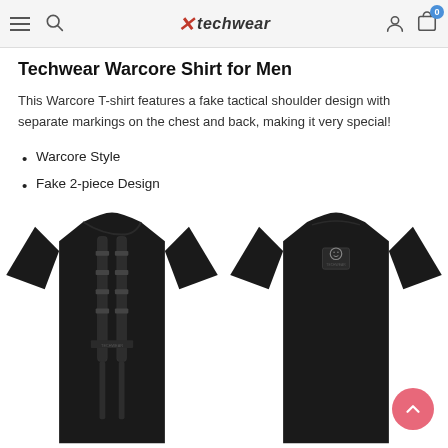Xtechwear navigation header
Techwear Warcore Shirt for Men
This Warcore T-shirt features a fake tactical shoulder design with separate markings on the chest and back, making it very special!
Warcore Style
Fake 2-piece Design
Loose Fit
[Figure (photo): Two views of a black Techwear Warcore T-shirt. Left: front view showing fake tactical shoulder straps and chest markings. Right: back view with a small logo patch on upper back. Both shirts are black with loose fit.]